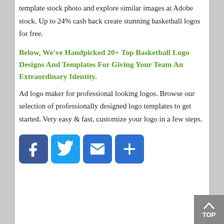template stock photo and explore similar images at Adobe stock. Up to 24% cash back create stunning basketball logos for free.
Below, We've Handpicked 20+ Top Basketball Logo Designs And Templates For Giving Your Team An Extraordinary Identity.
Ad logo maker for professional looking logos. Browse our selection of professionally designed logo templates to get started. Very easy & fast, customize your logo in a few steps.
[Figure (infographic): Four social sharing icon buttons: Facebook (blue), Twitter (light blue), Email (blue envelope), Share/Plus (blue plus sign)]